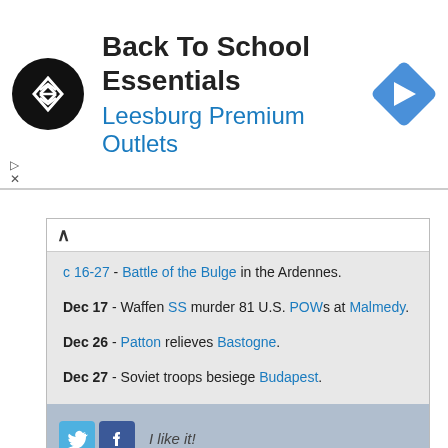[Figure (screenshot): Advertisement banner for Back To School Essentials at Leesburg Premium Outlets with circular black logo and blue diamond navigation arrow icon]
c 16-27 - Battle of the Bulge in the Ardennes.
Dec 17 - Waffen SS murder 81 U.S. POWs at Malmedy.
Dec 26 - Patton relieves Bastogne.
Dec 27 - Soviet troops besiege Budapest.
[Figure (screenshot): Social sharing bar with Twitter, Facebook, Delicious, MySpace, StumbleUpon, Reddit icons and 'I like it!' button]